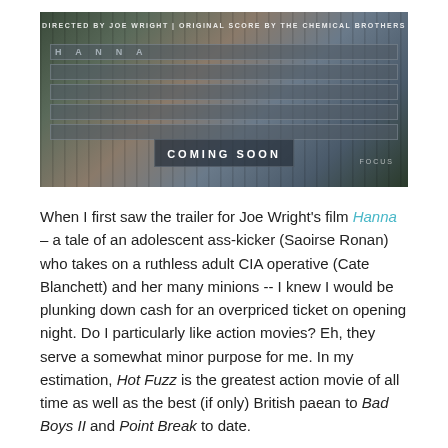[Figure (photo): Movie poster for Hanna. Dark atmospheric image with a face visible. Text reads: DIRECTED BY JOE WRIGHT | ORIGINAL SCORE BY THE CHEMICAL BROTHERS. Large stylized title bars with the film title. COMING SOON in white bold text. FOCUS logo at bottom right.]
When I first saw the trailer for Joe Wright's film Hanna – a tale of an adolescent ass-kicker (Saoirse Ronan) who takes on a ruthless adult CIA operative (Cate Blanchett) and her many minions -- I knew I would be plunking down cash for an overpriced ticket on opening night. Do I particularly like action movies? Eh, they serve a somewhat minor purpose for me. In my estimation, Hot Fuzz is the greatest action movie of all time as well as the best (if only) British paean to Bad Boys II and Point Break to date.